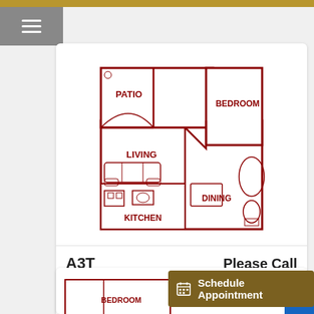[Figure (schematic): Apartment floor plan labeled A3T showing PATIO, LIVING, BEDROOM, DINING, KITCHEN areas in dark red lines on white background]
A3T
Please Call
1 Bed, 1 Bath, 772 Sqft
Available Units 1
Schedule Appointment
[Figure (schematic): Partial floor plan showing BEDROOM label at bottom of page]